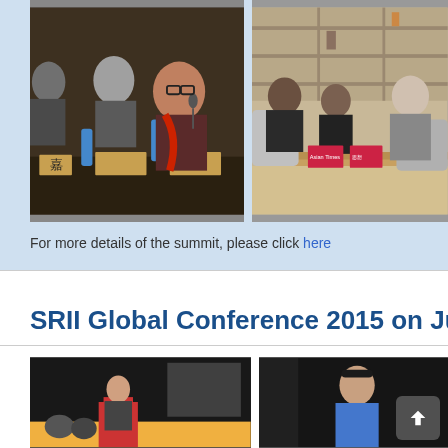[Figure (photo): Conference panel discussion photo showing man in red scarf speaking into microphone with name placards on table with Chinese characters]
[Figure (photo): Meeting room photo showing several people seated having a discussion with magazines on the table]
For more details of the summit, please click here
SRII Global Conference 2015 on June 0...
[Figure (photo): Conference presentation photo showing speaker at podium in front of dark curtain backdrop]
[Figure (photo): Conference presentation photo showing male speaker in blue shirt in front of dark curtain]